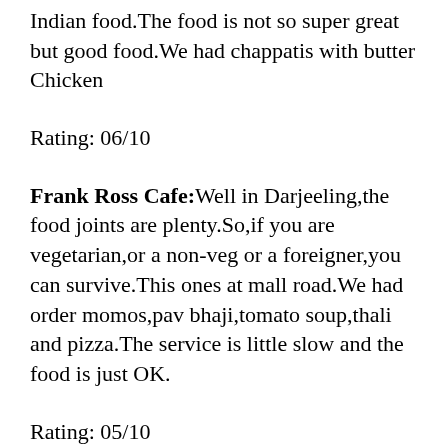Indian food.The food is not so super great but good food.We had chappatis with butter Chicken
Rating: 06/10
Frank Ross Cafe: Well in Darjeeling,the food joints are plenty.So,if you are vegetarian,or a non-veg or a foreigner,you can survive.This ones at mall road.We had order momos,pav bhaji,tomato soup,thali and pizza.The service is little slow and the food is just OK.
Rating: 05/10
Keventer's,Glenery's,Fiesta and Frank Ross Cafe:
The names are just wow,isn't it?This is Darjeeling and thankfully it has retained its old world